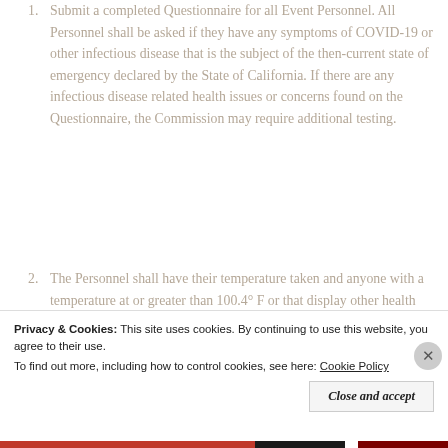Submit a completed Questionnaire for all Event Personnel. All Personnel shall be asked if they have any symptoms of COVID-19 or other infectious disease that is the subject of the then-current state of emergency declared by the State of California. If there are any infectious disease related health issues or concerns found on the Questionnaire, the Commission may require additional testing.
The Personnel shall have their temperature taken and anyone with a temperature at or greater than 100.4° F or that display other health indicators related to COVID-19 or other infectious disease that is the subject of the then-current state of emergency declared by the State of California, that Personnel shall not proceed to the Event
Privacy & Cookies: This site uses cookies. By continuing to use this website, you agree to their use. To find out more, including how to control cookies, see here: Cookie Policy